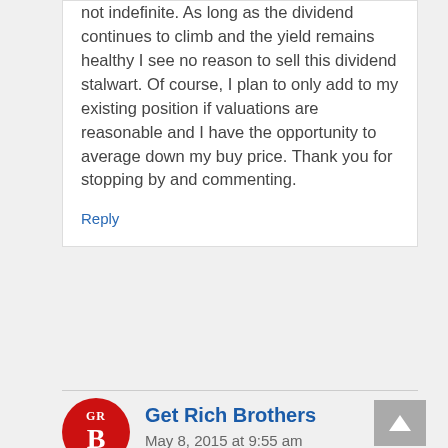not indefinite. As long as the dividend continues to climb and the yield remains healthy I see no reason to sell this dividend stalwart. Of course, I plan to only add to my existing position if valuations are reasonable and I have the opportunity to average down my buy price. Thank you for stopping by and commenting.
Reply
[Figure (logo): Red circular avatar with letters GR above a large B, representing Get Rich Brothers]
Get Rich Brothers
May 8, 2015 at 9:55 am